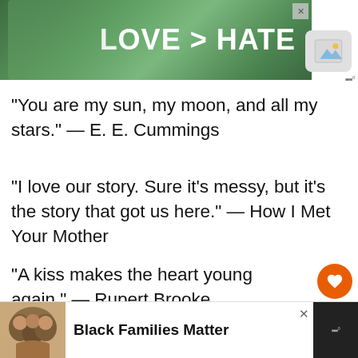[Figure (screenshot): Advertisement banner showing hands forming heart shape with text LOVE > HATE on green background]
[Figure (screenshot): Widget showing mountain/image icon and grid dots indicator]
“You are my sun, my moon, and all my stars.” — E. E. Cummings
“I love our story. Sure it’s messy, but it’s the story that got us here.” — How I Met Your Mother
“A kiss makes the heart young again.” — Rupert Brooke
“You are my heart, my life, my one and only th…
[Figure (screenshot): Orange heart like button with count 13 and share button]
[Figure (screenshot): Bottom advertisement: Black Families Matter with photo of smiling family]